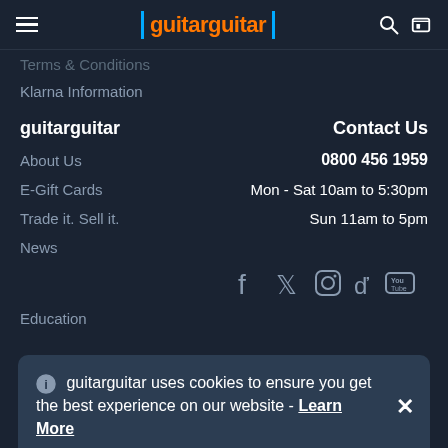guitarguitar
Terms & Conditions
Klarna Information
guitarguitar
Contact Us
About Us
0800 456 1959
E-Gift Cards
Mon - Sat 10am to 5:30pm
Trade it. Sell it.
Sun 11am to 5pm
News
Education
[Figure (other): Social media icons: Facebook, Twitter, Instagram, TikTok, YouTube]
guitarguitar uses cookies to ensure you get the best experience on our website - Learn More
Vacancies